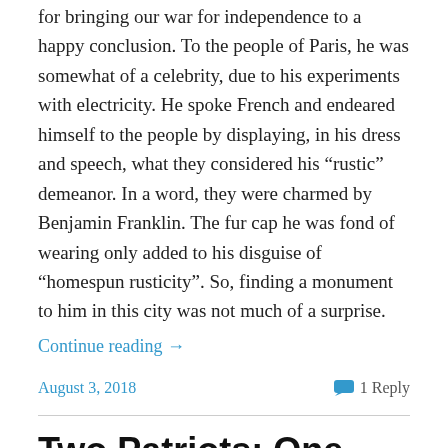for bringing our war for independence to a happy conclusion.  To the people of Paris, he was somewhat of a celebrity, due to his experiments with electricity. He spoke French and endeared himself to the people by displaying, in his dress and speech, what they considered his “rustic” demeanor.  In a word, they were charmed by Benjamin Franklin.  The fur cap he was fond of wearing only added to his disguise of “homespun rusticity”.  So, finding a monument to him in this city was not much of a surprise.
Continue reading →
August 3, 2018
1 Reply
Two Patriots: One Slave and One Free: James Armistead